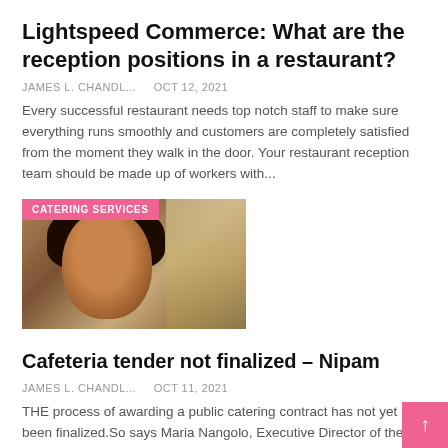Lightspeed Commerce: What are the reception positions in a restaurant?
JAMES L. CHANDL...   Oct 12, 2021
Every successful restaurant needs top notch staff to make sure everything runs smoothly and customers are completely satisfied from the moment they walk in the door. Your restaurant reception team should be made up of workers with...
[Figure (photo): Portrait photo of a woman with short black hair and gold earrings, with a pink 'CATERING SERVICES' category tag overlay in the top-left corner]
Cafeteria tender not finalized – Nipam
JAMES L. CHANDL...   Oct 11, 2021
THE process of awarding a public catering contract has not yet been finalized.So says Maria Nangolo, Executive Director of the Namibia Institute of Public Administration and Management (Nipam).She sai...